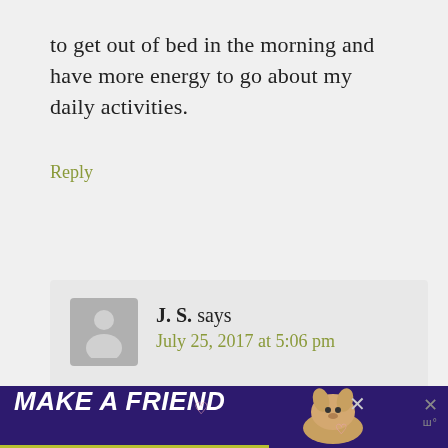to get out of bed in the morning and have more energy to go about my daily activities.
Reply
J. S. says
July 25, 2017 at 5:06 pm
How long have you been using the supplement? Are you taking ANY prescriptieve medications
[Figure (other): Advertisement banner: MAKE A FRIEND with dog photo and close button]